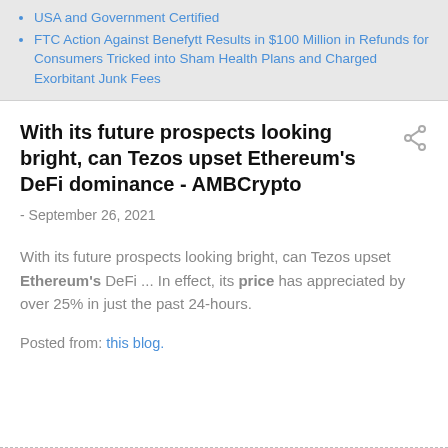USA and Government Certified
FTC Action Against Benefytt Results in $100 Million in Refunds for Consumers Tricked into Sham Health Plans and Charged Exorbitant Junk Fees
With its future prospects looking bright, can Tezos upset Ethereum's DeFi dominance - AMBCrypto
- September 26, 2021
With its future prospects looking bright, can Tezos upset Ethereum's DeFi ... In effect, its price has appreciated by over 25% in just the past 24-hours.
Posted from: this blog.